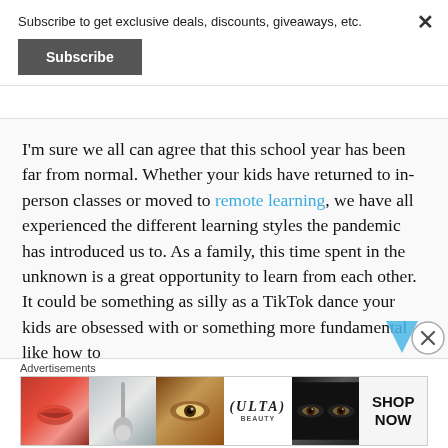Subscribe to get exclusive deals, discounts, giveaways, etc.
Subscribe
I'm sure we all can agree that this school year has been far from normal. Whether your kids have returned to in-person classes or moved to remote learning, we have all experienced the different learning styles the pandemic has introduced us to. As a family, this time spent in the unknown is a great opportunity to learn from each other. It could be something as silly as a TikTok dance your kids are obsessed with or something more fundamental like how to
Advertisements
[Figure (photo): Ulta beauty advertisement banner showing makeup imagery — lips with red lipstick, makeup brush, eye with eyeshadow, Ulta Beauty logo, smokey eye closeup, and SHOP NOW call-to-action button]